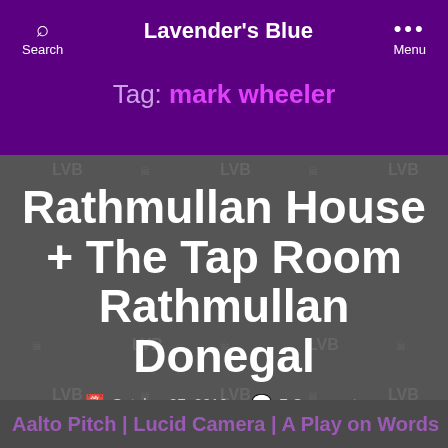Lavender's Blue
Tag: mark wheeler
Rathmullan House + The Tap Room Rathmullan Donegal
October 27, 2016   7 Comments
Aalto Pitch | Lucid Camera | A Play on Words